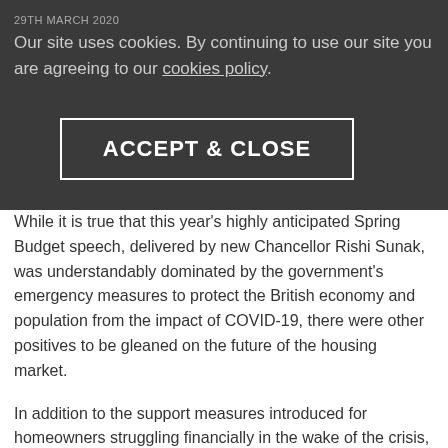29TH MARCH 2020
Our site uses cookies. By continuing to use our site you are agreeing to our cookies policy.
ACCEPT & CLOSE
SPRING BUDGET: WHAT DOES IT MEAN FOR THE HOUSING MARKET?
While it is true that this year's highly anticipated Spring Budget speech, delivered by new Chancellor Rishi Sunak, was understandably dominated by the government's emergency measures to protect the British economy and population from the impact of COVID-19, there were other positives to be gleaned on the future of the housing market.
In addition to the support measures introduced for homeowners struggling financially in the wake of the crisis, Mr Sunak also announced that the government would be making the provision of affordable and social housing a priority, earmarking £12bn in funding for the extension of the